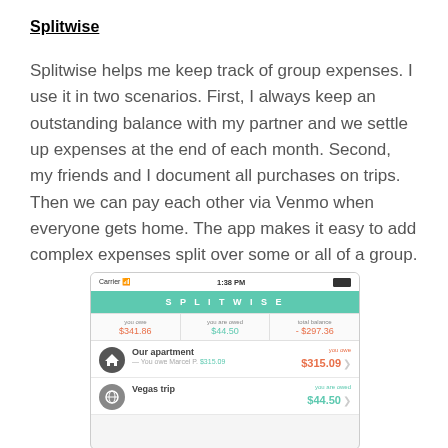Splitwise
Splitwise helps me keep track of group expenses. I use it in two scenarios. First, I always keep an outstanding balance with my partner and we settle up expenses at the end of each month. Second, my friends and I document all purchases on trips. Then we can pay each other via Venmo when everyone gets home. The app makes it easy to add complex expenses split over some or all of a group.
[Figure (screenshot): Screenshot of the Splitwise mobile app showing: status bar with Carrier, 1:38 PM, and battery. Green header with SPLITWISE text. Balance row showing you owe $341.86, you are owed $44.50, total balance -$297.36. Our apartment item showing you owe $315.09, sub-text You owe Marcel P. $315.09. Vegas trip item showing you are owed $44.50.]